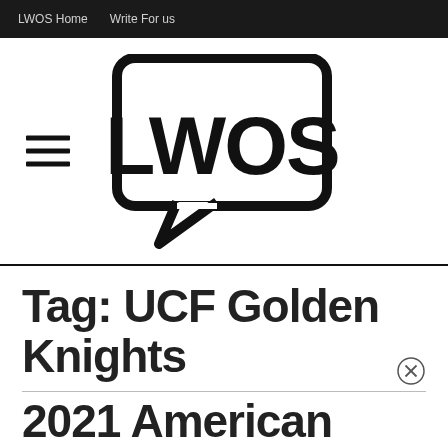LWOS Home   Write For us
[Figure (logo): LWOS logo — speech bubble containing bold text 'LWOS', with hamburger menu icon to the left]
Tag: UCF Golden Knights
2021 American Athletics...